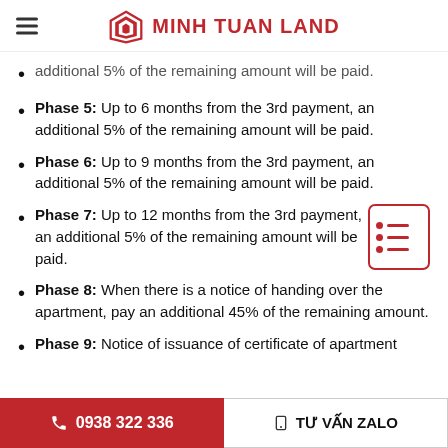MINH TUAN LAND
additional 5% of the remaining amount will be paid.
Phase 5: Up to 6 months from the 3rd payment, an additional 5% of the remaining amount will be paid.
Phase 6: Up to 9 months from the 3rd payment, an additional 5% of the remaining amount will be paid.
Phase 7: Up to 12 months from the 3rd payment, an additional 5% of the remaining amount will be paid.
Phase 8: When there is a notice of handing over the apartment, pay an additional 45% of the remaining amount.
Phase 9: Notice of issuance of certificate of apartment
☎ 0938 322 336   □ TƯ VẤN ZALO